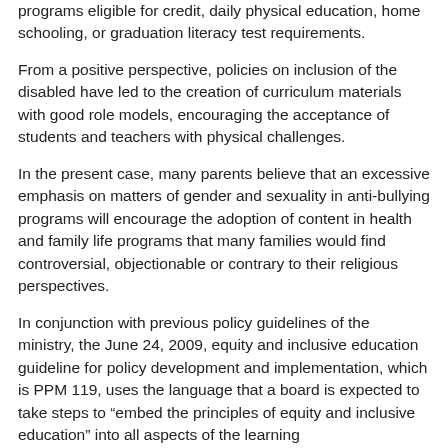programs eligible for credit, daily physical education, home schooling, or graduation literacy test requirements.
From a positive perspective, policies on inclusion of the disabled have led to the creation of curriculum materials with good role models, encouraging the acceptance of students and teachers with physical challenges.
In the present case, many parents believe that an excessive emphasis on matters of gender and sexuality in anti-bullying programs will encourage the adoption of content in health and family life programs that many families would find controversial, objectionable or contrary to their religious perspectives.
In conjunction with previous policy guidelines of the ministry, the June 24, 2009, equity and inclusive education guideline for policy development and implementation, which is PPM 119, uses the language that a board is expected to take steps to “embed the principles of equity and inclusive education” into all aspects of the learning